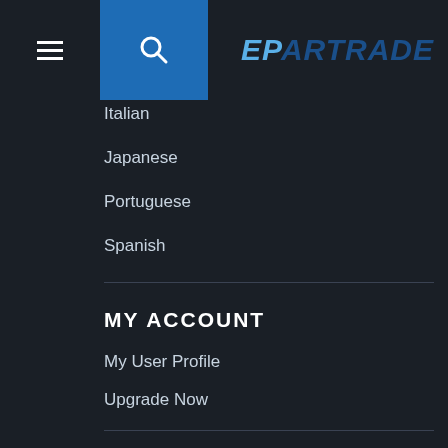[Figure (logo): EPARTRADE logo in top right header bar, with search icon in blue box and hamburger menu icon]
Italian
Japanese
Portuguese
Spanish
MY ACCOUNT
My User Profile
Upgrade Now
MORE